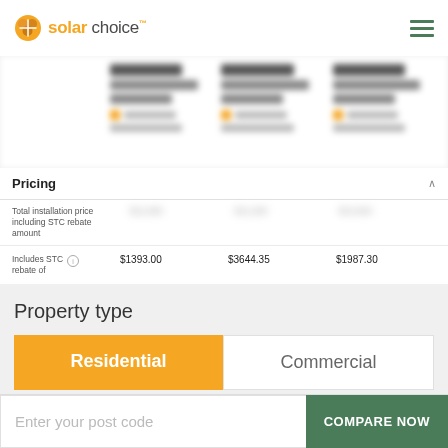solar choice
[Figure (screenshot): Blurred product comparison cards showing prices and installer names]
Pricing
|  | Col1 | Col2 | Col3 |
| --- | --- | --- | --- |
| Total installation price including STC rebate amount | [blurred] | [blurred] | [blurred] |
| Includes STC rebate of | $1393.00 | $3644.35 | $1987.30 |
Property type
Residential
Commercial
Enter your post code
COMPARE NOW
Enter your post code  COMPARE NOW